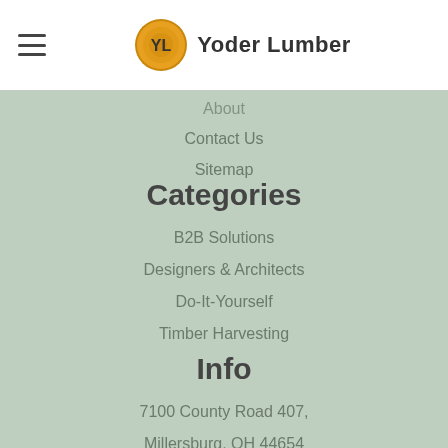Yoder Lumber
About
Contact Us
Sitemap
Categories
B2B Solutions
Designers & Architects
Do-It-Yourself
Timber Harvesting
Info
7100 County Road 407, Millersburg, OH 44654